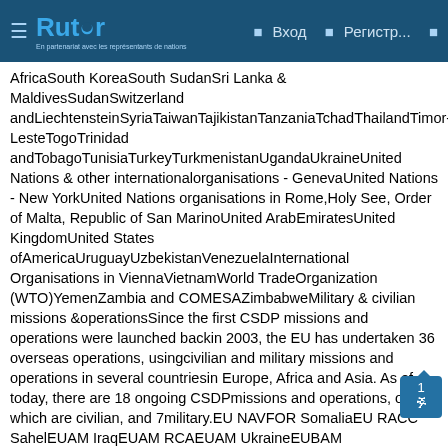Rutor — Вход — Регистр...
AfricaSouth KoreaSouth SudanSri Lanka & MaldivesSudanSwitzerland andLiechtensteinSyriaTaiwanTajikistanTanzaniaTchadThailandTimor-LesteTogoTrinidad andTobagoTunisiaTurkeyTurkmenistanUgandaUkraineUnited Nations & other internationalorganisations - GenevaUnited Nations - New YorkUnited Nations organisations in Rome,Holy See, Order of Malta, Republic of San MarinoUnited ArabEmiratesUnited KingdomUnited States ofAmericaUruguayUzbekistanVenezuelaInternational Organisations in ViennaVietnamWorld TradeOrganization (WTO)YemenZambia and COMESAZimbabweMilitary & civilian missions &operationsSince the first CSDP missions and operations were launched backin 2003, the EU has undertaken 36 overseas operations, usingcivilian and military missions and operations in several countriesin Europe, Africa and Asia. As of today, there are 18 ongoing CSDPmissions and operations, of which are civilian, and 7military.EU NAVFOR SomaliaEU RACC SahelEUAM IraqEUAM RCAEUAM UkraineEUBAM